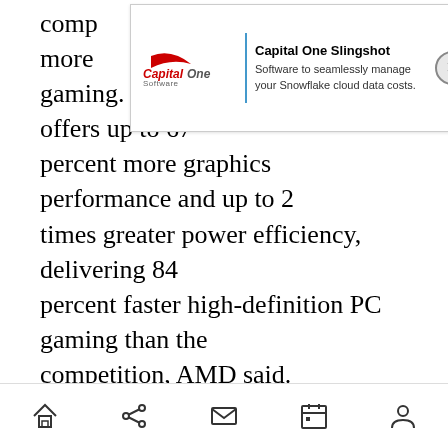comp... g to more ... PC gaming. The AMD Athlon 200GE offers up to 67 percent more graphics performance and up to 2 times greater power efficiency, delivering 84 percent faster high-definition PC gaming than the competition, AMD said.
[Figure (screenshot): Capital One Software advertisement banner with logo and close button. Text reads: Capital One Slingshot - Software to seamlessly manage your Snowflake cloud data costs.]
ADVERTISEMENT